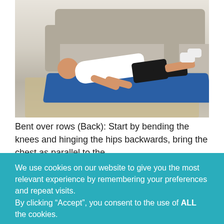[Figure (photo): A man doing a push-up/plank position on a blue yoga mat on a rug in a living room. He is wearing a white shirt and black shorts with white sneakers. A beige sofa is visible in the background.]
Bent over rows (Back): Start by bending the knees and hinging the hips backwards, bring the chest as parallel to the
We use cookies on our website to give you the most relevant experience by remembering your preferences and repeat visits.
By clicking “Accept”, you consent to the use of ALL the cookies.
Cookie settings
ACCEPT